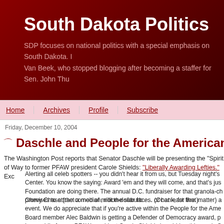South Dakota Politics
SDP focuses on national politics with a special emphasis on South Dakota. I Van Beek, who stopped blogging after becoming a staffer for Sen. John Thu
Home | Archives | Profile | Subscribe
Friday, December 10, 2004
Daschle and People for the American Way
The Washington Post reports that Senator Daschle will be presenting the "Spirit of Way to former PFAW president Carole Shields: "Liberally Awarding Lefties." Exc
Alerting all celeb spotters -- you didn't hear it from us, but Tuesday night's Center. You know the saying: Award 'em and they will come, and that's jus Foundation are doing there. The annual D.C. fundraiser for that granola-ch promises to attract a mob of million-dollar faces. (Or at least five.)
Chevy Chase (the comedian, not the suburb . . . or bank, for that matter) a event. We do appreciate that if you're active within the People for the Ame Board member Alec Baldwin is getting a Defender of Democracy award, p Lear, while former PFAW president Carole Shields is nabbing this year's S from soon-to-be-former Sen. Tom Daschle (D-S.D.). Meanwhile, who cou